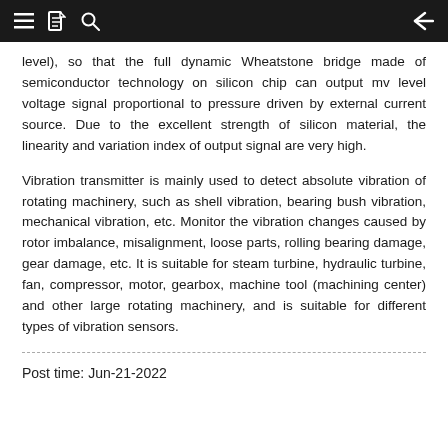Navigation bar with hamburger menu, document icon, search icon, and back arrow
level), so that the full dynamic Wheatstone bridge made of semiconductor technology on silicon chip can output mv level voltage signal proportional to pressure driven by external current source. Due to the excellent strength of silicon material, the linearity and variation index of output signal are very high.
Vibration transmitter is mainly used to detect absolute vibration of rotating machinery, such as shell vibration, bearing bush vibration, mechanical vibration, etc. Monitor the vibration changes caused by rotor imbalance, misalignment, loose parts, rolling bearing damage, gear damage, etc. It is suitable for steam turbine, hydraulic turbine, fan, compressor, motor, gearbox, machine tool (machining center) and other large rotating machinery, and is suitable for different types of vibration sensors.
Post time: Jun-21-2022